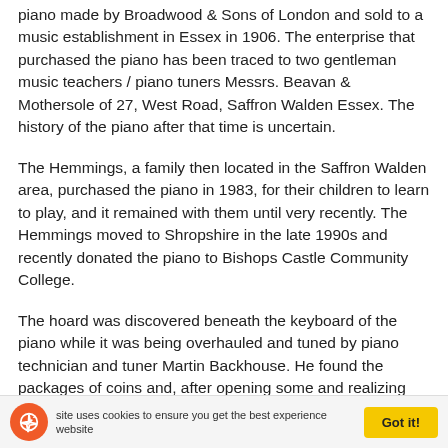piano made by Broadwood & Sons of London and sold to a music establishment in Essex in 1906. The enterprise that purchased the piano has been traced to two gentleman music teachers / piano tuners Messrs. Beavan & Mothersole of 27, West Road, Saffron Walden Essex. The history of the piano after that time is uncertain.
The Hemmings, a family then located in the Saffron Walden area, purchased the piano in 1983, for their children to learn to play, and it remained with them until very recently. The Hemmings moved to Shropshire in the late 1990s and recently donated the piano to Bishops Castle Community College.
The hoard was discovered beneath the keyboard of the piano while it was being overhauled and tuned by piano technician and tuner Martin Backhouse. He found the packages of coins and, after opening some and realizing
This site uses cookies to ensure you get the best experience on our website